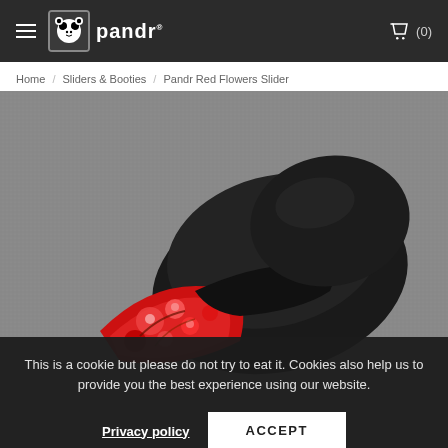pandr
Home / Sliders & Booties / Pandr Red Flowers Slider
[Figure (photo): Product photo of a Pandr Red Flowers Slider sandal — black rubber sole and footbed with a red floral patterned strap, photographed on a grey textured background.]
This is a cookie but please do not try to eat it. Cookies also help us to provide you the best experience using our website.
Privacy policy
ACCEPT